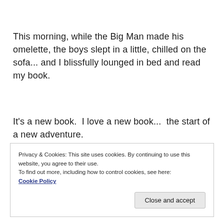This morning, while the Big Man made his omelette, the boys slept in a little, chilled on the sofa... and I blissfully lounged in bed and read my book.
It's a new book.  I love a new book...  the start of a new adventure.
Privacy & Cookies: This site uses cookies. By continuing to use this website, you agree to their use.
To find out more, including how to control cookies, see here:
Cookie Policy
Close and accept